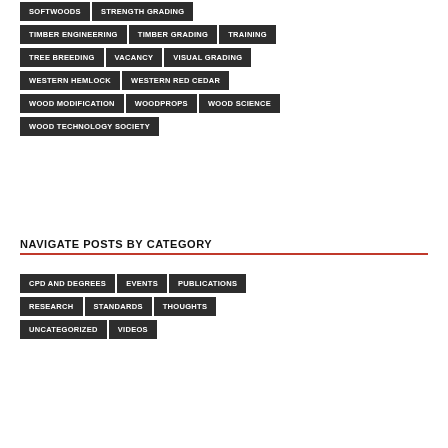SOFTWOODS
STRENGTH GRADING
TIMBER ENGINEERING
TIMBER GRADING
TRAINING
TREE BREEDING
VACANCY
VISUAL GRADING
WESTERN HEMLOCK
WESTERN RED CEDAR
WOOD MODIFICATION
WOODPROPS
WOOD SCIENCE
WOOD TECHNOLOGY SOCIETY
NAVIGATE POSTS BY CATEGORY
CPD AND DEGREES
EVENTS
PUBLICATIONS
RESEARCH
STANDARDS
THOUGHTS
UNCATEGORIZED
VIDEOS